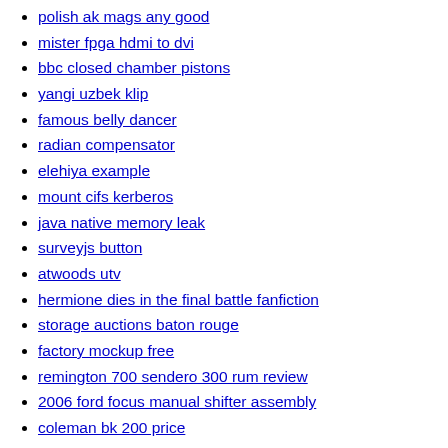polish ak mags any good
mister fpga hdmi to dvi
bbc closed chamber pistons
yangi uzbek klip
famous belly dancer
radian compensator
elehiya example
mount cifs kerberos
java native memory leak
surveyjs button
atwoods utv
hermione dies in the final battle fanfiction
storage auctions baton rouge
factory mockup free
remington 700 sendero 300 rum review
2006 ford focus manual shifter assembly
coleman bk 200 price
kraft paper manufacturers in europe
dell wireless keyboard keys sticking
portage county newspaper
evga gpu fan curve
g19 complete slide assembly
1977 gmc sierra 2500 for sale
oedro phone number
pick and place file altium